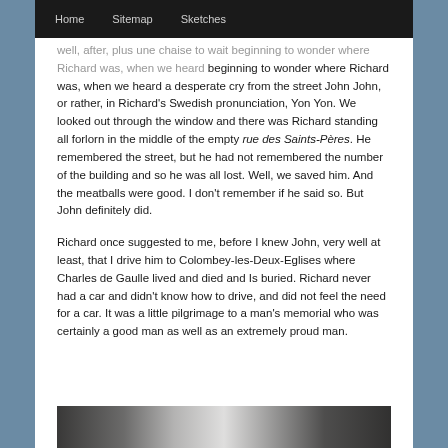Home   Sitemap   Sketches
...well, after, plus une chaise to wait beginning to wonder where Richard was, when we heard a desperate cry from the street John John, or rather, in Richard's Swedish pronunciation, Yon Yon. We looked out through the window and there was Richard standing all forlorn in the middle of the empty rue des Saints-Pères. He remembered the street, but he had not remembered the number of the building and so he was all lost. Well, we saved him. And the meatballs were good. I don't remember if he said so. But John definitely did.
Richard once suggested to me, before I knew John, very well at least, that I drive him to Colombey-les-Deux-Eglises where Charles de Gaulle lived and died and Is buried. Richard never had a car and didn't know how to drive, and did not feel the need for a car. It was a little pilgrimage to a man's memorial who was certainly a good man as well as an extremely proud man.
[Figure (photo): Partial image strip at bottom of page showing black and white photograph]